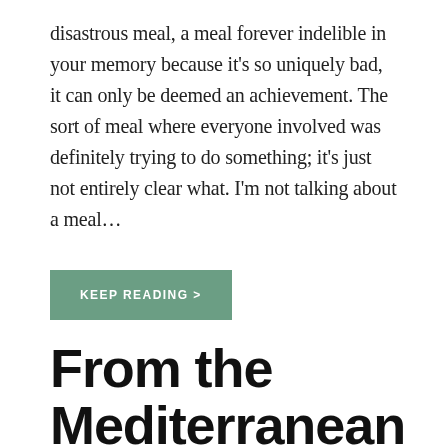disastrous meal, a meal forever indelible in your memory because it's so uniquely bad, it can only be deemed an achievement. The sort of meal where everyone involved was definitely trying to do something; it's just not entirely clear what. I'm not talking about a meal…
KEEP READING >
From the Mediterranean to Cheddar Bay…